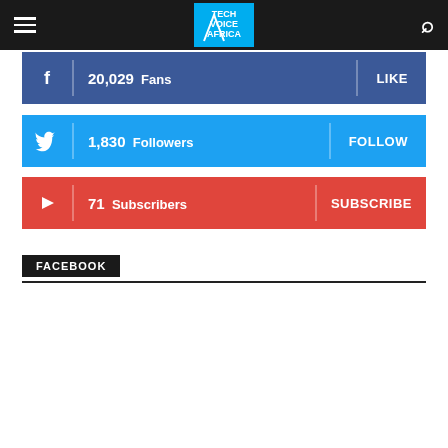Tech Voice Africa
20,029 Fans  LIKE
1,830 Followers  FOLLOW
71 Subscribers  SUBSCRIBE
FACEBOOK